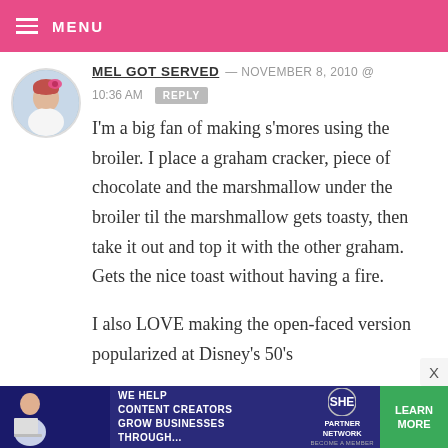MENU
MEL GOT SERVED — NOVEMBER 8, 2010 @ 10:36 AM REPLY
I'm a big fan of making s'mores using the broiler. I place a graham cracker, piece of chocolate and the marshmallow under the broiler til the marshmallow gets toasty, then take it out and top it with the other graham. Gets the nice toast without having a fire.

I also LOVE making the open-faced version popularized at Disney's 50's
[Figure (other): Advertisement banner: WE HELP CONTENT CREATORS GROW BUSINESSES THROUGH... SHE PARTNER NETWORK BECOME A MEMBER. LEARN MORE button.]